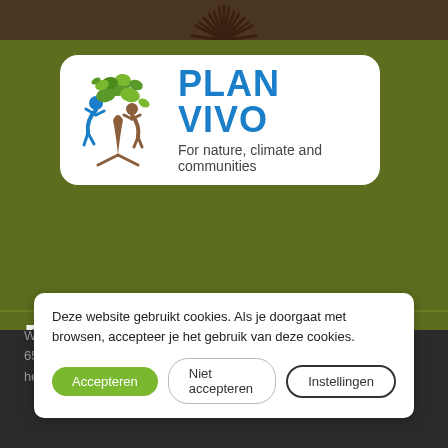[Figure (logo): Decorative dark brown sunburst/tree top element at top of page]
[Figure (logo): Plan Vivo logo: stylized tree with human figure in blue and brown, text PLAN VIVO in blue, subtitle For nature, climate and communities]
FairShares B.V.
Wilhelminasingel 4
6524 AK Nijmegen
hello@...
Deze website gebruikt cookies. Als je doorgaat met browsen, accepteer je het gebruik van deze cookies.
Accepteren  Niet accepteren  Instellingen